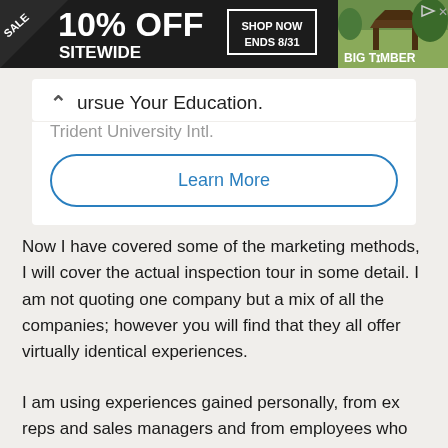[Figure (screenshot): Advertisement banner: SALE 10% OFF SITEWIDE - SHOP NOW ENDS 8/31 - BIG TIMBER with gazebo photo]
Pursue Your Education.
Trident University Intl.
Learn More
Now I have covered some of the marketing methods, I will cover the actual inspection tour in some detail. I am not quoting one company but a mix of all the companies; however you will find that they all offer virtually identical experiences.
I am using experiences gained personally, from ex reps and sales managers and from employees who still work for several of the big agents on the Costa Blanca, Golide